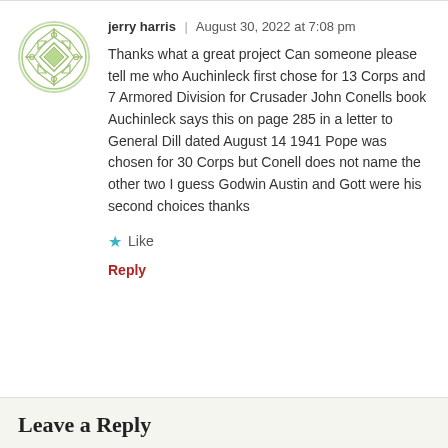[Figure (illustration): Circular avatar icon with green geometric diamond/quilt pattern on white background]
jerry harris | August 30, 2022 at 7:08 pm
Thanks what a great project Can someone please tell me who Auchinleck first chose for 13 Corps and 7 Armored Division for Crusader John Conells book Auchinleck says this on page 285 in a letter to General Dill dated August 14 1941 Pope was chosen for 30 Corps but Conell does not name the other two I guess Godwin Austin and Gott were his second choices thanks
★ Like
Reply
Leave a Reply